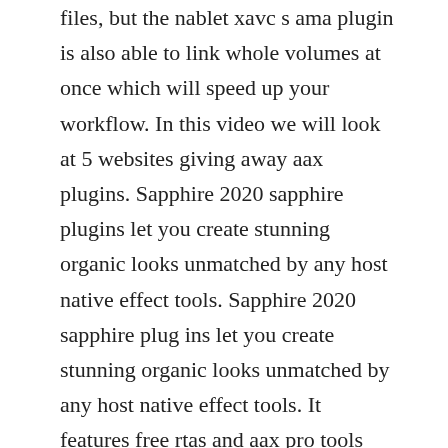files, but the nablet xavc s ama plugin is also able to link whole volumes at once which will speed up your workflow. In this video we will look at 5 websites giving away aax plugins. Sapphire 2020 sapphire plugins let you create stunning organic looks unmatched by any host native effect tools. Sapphire 2020 sapphire plug ins let you create stunning organic looks unmatched by any host native effect tools. It features free rtas and aax pro tools plugins and is updated regularly. There is hardly anyone who does not know about plugins from waves they are used by most famous musicians,